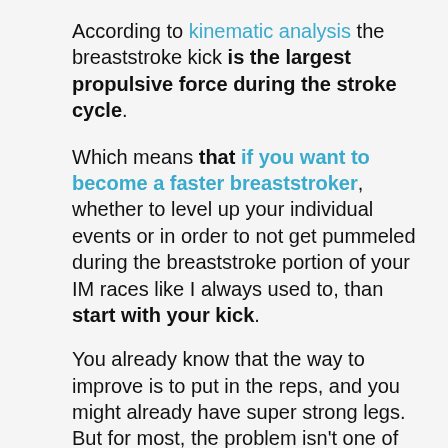According to kinematic analysis the breaststroke kick is the largest propulsive force during the stroke cycle.
Which means that if you want to become a faster breaststroker, whether to level up your individual events or in order to not get pummeled during the breaststroke portion of your IM races like I always used to, than start with your kick.
You already know that the way to improve is to put in the reps, and you might already have super strong legs. But for most, the problem isn't one of strength or practice–it's mastering the timing and technique of the breaststroke kick that is the…